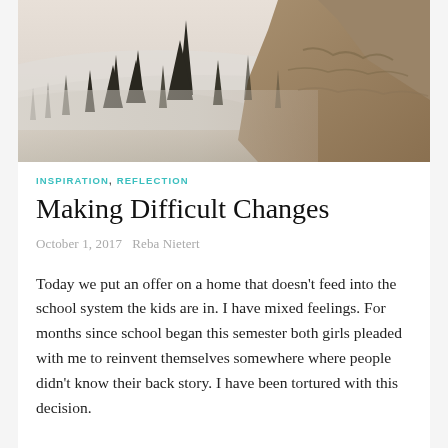[Figure (photo): Landscape photo showing misty forest with tall pine trees shrouded in fog, and a hillside on the right side in golden-brown tones]
INSPIRATION, REFLECTION
Making Difficult Changes
October 1, 2017   Reba Nietert
Today we put an offer on a home that doesn't feed into the school system the kids are in. I have mixed feelings. For months since school began this semester both girls pleaded with me to reinvent themselves somewhere where people didn't know their back story. I have been tortured with this decision.